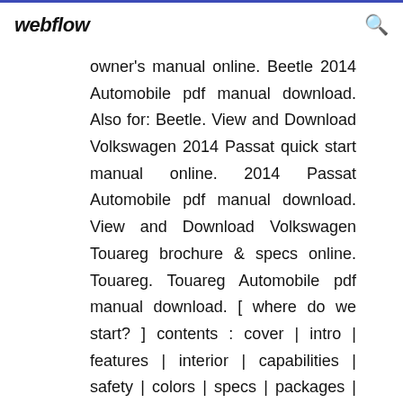webflow
owner's manual online. Beetle 2014 Automobile pdf manual download. Also for: Beetle. View and Download Volkswagen 2014 Passat quick start manual online. 2014 Passat Automobile pdf manual download. View and Download Volkswagen Touareg brochure & specs online. Touareg. Touareg Automobile pdf manual download. [ where do we start? ] contents : cover | intro | features | interior | capabilities | safety | colors | specs | packages | legal... Harness the full power of Raymarine navigation technologies with multifunction displays. Configure as a single all-in-one chart, radar, and sonar navigation display or expand into Whether on your phone screen or on your car